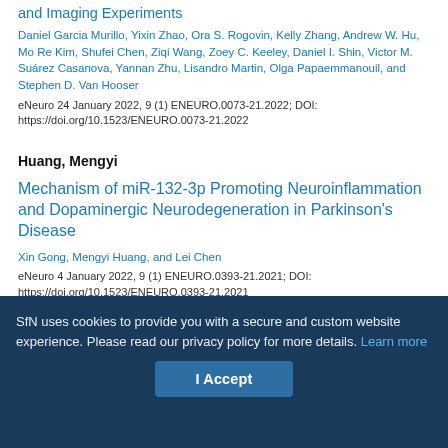and Imaging Experiments
Daniel Garcia Murillo, Yixin Zhao, Ora S. Rogovin, Kelly Zhang, Andrew W. Hu, Mo Re Kim, Shufei Chen, Ziqi Wang, Zoey C. Keeley, Daniel I. Shin, Victor M. Suárez Casanova, Yannan Zhu, Lisandro Martin, Olga Papaemmanouil, and Stephen D. Van Hooser
eNeuro 24 January 2022, 9 (1) ENEURO.0073-21.2022; DOI: https://doi.org/10.1523/ENEURO.0073-21.2022
Huang, Mengyi
Mechanism of miR-132-3p Promoting Neuroinflammation and Dopaminergic Neurodegeneration in Parkinson's Disease
Xin Gong, Mengyi Huang, and Lei Chen
eNeuro 4 January 2022, 9 (1) ENEURO.0393-21.2021; DOI: https://doi.org/10.1523/ENEURO.0393-21.2021
SfN uses cookies to provide you with a secure and custom website experience. Please read our privacy policy for more details. Learn more
I Accept